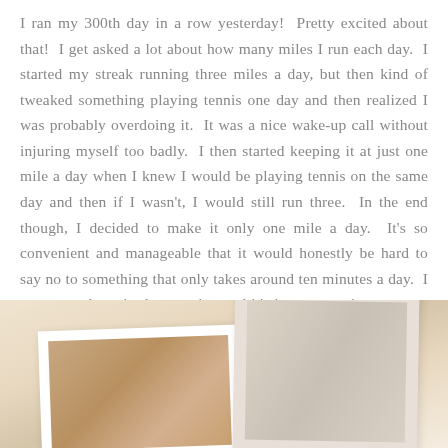I ran my 300th day in a row yesterday!  Pretty excited about that!  I get asked a lot about how many miles I run each day.  I started my streak running three miles a day, but then kind of tweaked something playing tennis one day and then realized I was probably overdoing it.  It was a nice wake-up call without injuring myself too badly.  I then started keeping it at just one mile a day when I knew I would be playing tennis on the same day and then if I wasn't, I would still run three.  In the end though, I decided to make it only one mile a day.  It's so convenient and manageable that it would honestly be hard to say no to something that only takes around ten minutes a day.  I get out and run in the morning and it's just a great jumpstart to my day!  I'm not sure how long I'll keep it going, but I've really been enjoying it.
[Figure (photo): A photo collage showing framed pictures on a light beige/cream background. One frame on the left appears to show a warm-toned image, and another frame on the right shows a lighter image with fabric or soft textures.]